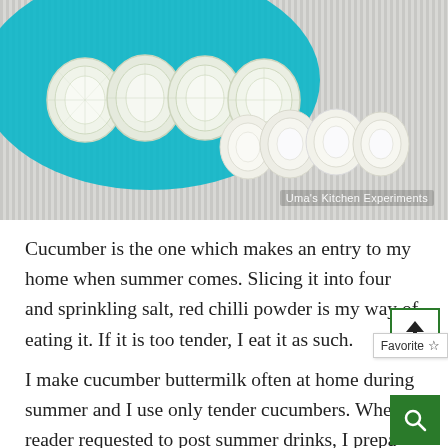[Figure (photo): Photo of peeled/sliced cucumbers arranged on a teal/blue plate and some on a striped gray surface. Watermark reads 'Uma's Kitchen Experiments'.]
Cucumber is the one which makes an entry to my home when summer comes. Slicing it into four and sprinkling salt, red chilli powder is my way of eating it. If it is too tender, I eat it as such.
I make cucumber buttermilk often at home during summer and I use only tender cucumbers. When a reader requested to post summer drinks, I prepa… this buttermilk last week. But I didn't have the tender...